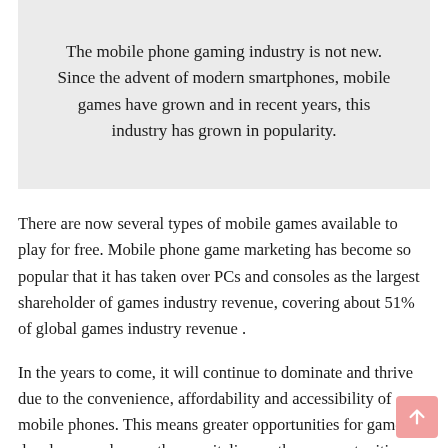The mobile phone gaming industry is not new. Since the advent of modern smartphones, mobile games have grown and in recent years, this industry has grown in popularity.
There are now several types of mobile games available to play for free. Mobile phone game marketing has become so popular that it has taken over PCs and consoles as the largest shareholder of games industry revenue, covering about 51% of global games industry revenue .
In the years to come, it will continue to dominate and thrive due to the convenience, affordability and accessibility of mobile phones. This means greater opportunities for game developers, who can then capitalize on these opportunities and make huge revenues. But while capitalizing on these opportunities, game developers make some mistakes, which we discussed below.